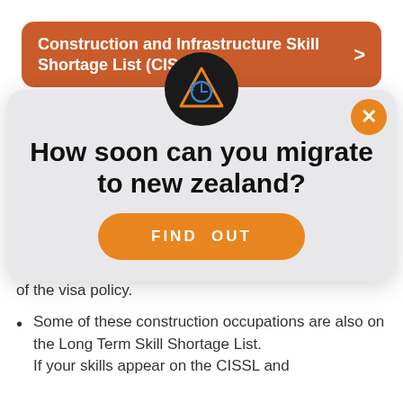Construction and Infrastructure Skill Shortage List (CISSL)
[Figure (illustration): Dark circular icon with an orange triangle outline and a blue clock/speed gauge symbol inside, representing immigration or time-related services]
How soon can you migrate to new zealand?
FIND OUT
visa application will be guaranteed if you are offered a job on the CISSL and meet all further list requirements of the visa policy.
Some of these construction occupations are also on the Long Term Skill Shortage List.
If your skills appear on the CISSL and